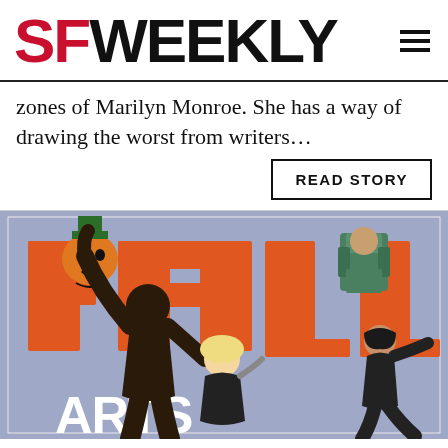SF WEEKLY
zones of Marilyn Monroe. She has a way of drawing the worst from writers...
READ STORY
[Figure (photo): A collage/poster image showing dancers and the text 'FALL ARTS' in large orange letters on a blue/purple background. A shirtless male dancer reaches upward on the left, a blonde woman in the center, and a woman in black on the right. Decorative cartoon character images appear in the upper corners.]